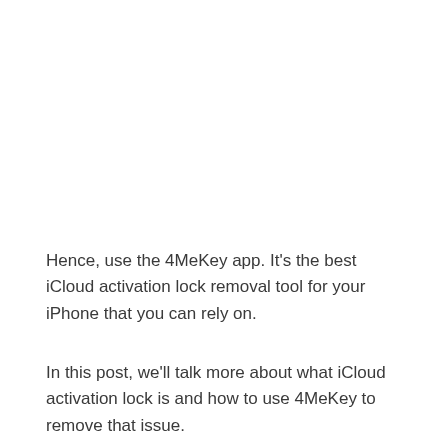Hence, use the 4MeKey app. It's the best iCloud activation lock removal tool for your iPhone that you can rely on.
In this post, we'll talk more about what iCloud activation lock is and how to use 4MeKey to remove that issue.